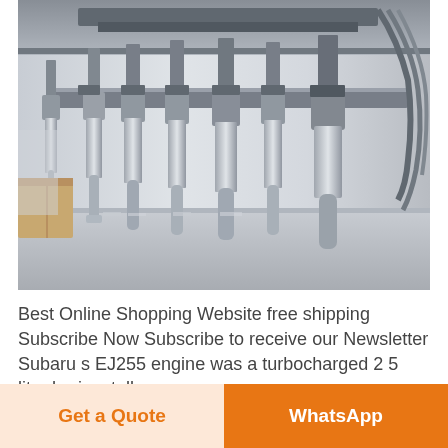[Figure (photo): Industrial automated filling or dispensing machine with multiple metal nozzles and pneumatic cylinders mounted on a stainless steel frame, photographed from the front.]
Best Online Shopping Website free shipping Subscribe Now Subscribe to receive our Newsletter Subaru s EJ255 engine was a turbocharged 2 5 litre horizontally
Get a Quote
WhatsApp